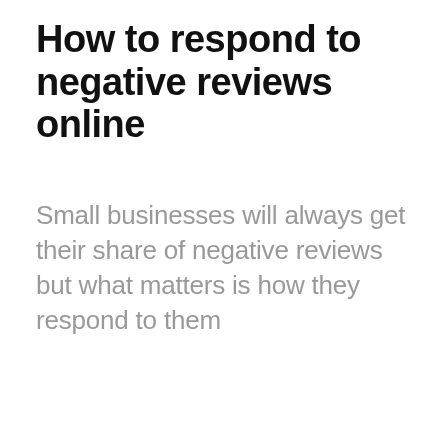How to respond to negative reviews online
Small businesses will always get their share of negative reviews but what matters is how they respond to them